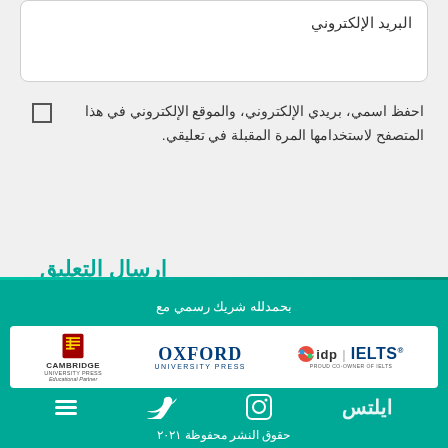البريد الإلكتروني
احفظ اسمي، بريدي الإلكتروني، والموقع الإلكتروني في هذا المتصفح لاستخدامها المرة المقبلة في تعليقي.
إرسال التعليق
بحمدلله شريك رسمي مع
[Figure (logo): Cambridge University Press Educational Partner logo]
[Figure (logo): Oxford University Press logo]
[Figure (logo): idp IELTS logo - Proud co-owner of IELTS]
حقوق النشر محفوظة ٢٠٢١